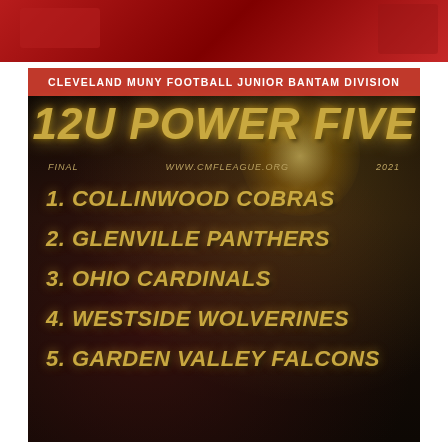[Figure (photo): Top red banner background with football imagery]
CLEVELAND MUNY FOOTBALL JUNIOR BANTAM DIVISION
12U POWER FIVE
FINAL   WWW.CMFLEAGUE.ORG   2021
1. COLLINWOOD COBRAS
2. GLENVILLE PANTHERS
3. OHIO CARDINALS
4. WESTSIDE WOLVERINES
5. GARDEN VALLEY FALCONS